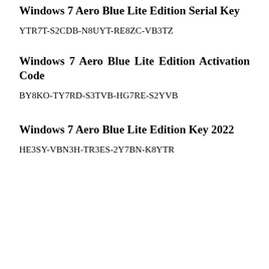Windows 7 Aero Blue Lite Edition Serial Key
YTR7T-S2CDB-N8UYT-RE8ZC-VB3TZ
Windows 7 Aero Blue Lite Edition Activation Code
BY8KO-TY7RD-S3TVB-HG7RE-S2YVB
Windows 7 Aero Blue Lite Edition Key 2022
HE3SY-VBN3H-TR3ES-2Y7BN-K8YTR